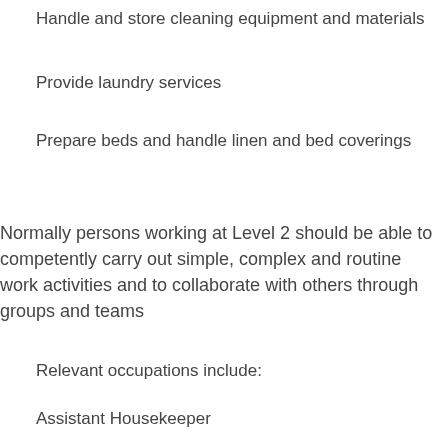Handle and store cleaning equipment and materials
Provide laundry services
Prepare beds and handle linen and bed coverings
Normally persons working at Level 2 should be able to competently carry out simple, complex and routine work activities and to collaborate with others through groups and teams
Relevant occupations include:
Assistant Housekeeper